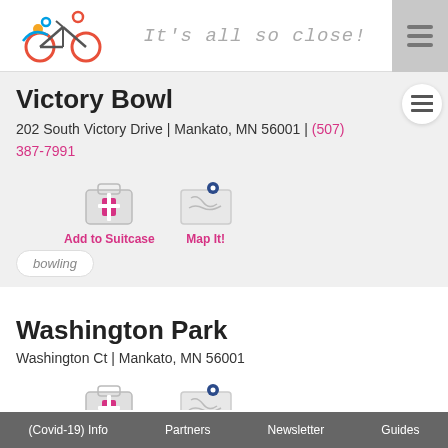It's all so close!
Victory Bowl
202 South Victory Drive | Mankato, MN 56001 | (507) 387-7991
[Figure (illustration): Add to Suitcase icon button with pink plus suitcase graphic]
[Figure (illustration): Map It! icon button with map and pin graphic]
bowling
Washington Park
Washington Ct | Mankato, MN 56001
[Figure (illustration): Add to Suitcase icon button with pink plus suitcase graphic]
[Figure (illustration): Map It! icon button with map and pin graphic]
(Covid-19) Info   Partners   Newsletter   Guides